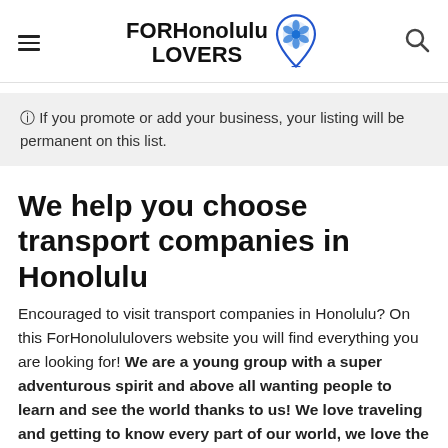FOR Honolulu LOVERS
🛈 If you promote or add your business, your listing will be permanent on this list.
We help you choose transport companies in Honolulu
Encouraged to visit transport companies in Honolulu? On this ForHonolululovers website you will find everything you are looking for! We are a young group with a super adventurous spirit and above all wanting people to learn and see the world thanks to us! We love traveling and getting to know every part of our world, we love the motivation of being able to share our experiences